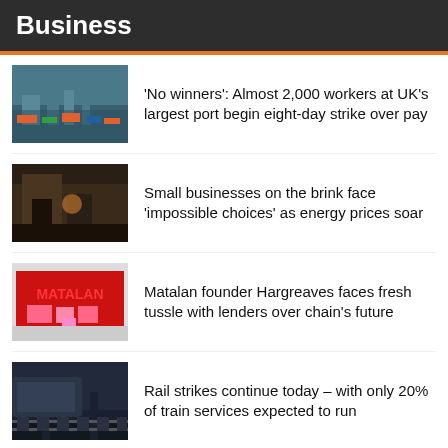Business
'No winners': Almost 2,000 workers at UK's largest port begin eight-day strike over pay
Small businesses on the brink face 'impossible choices' as energy prices soar
Matalan founder Hargreaves faces fresh tussle with lenders over chain's future
Rail strikes continue today – with only 20% of train services expected to run
Si…ould d…s s…rie to file for b…kru…t…